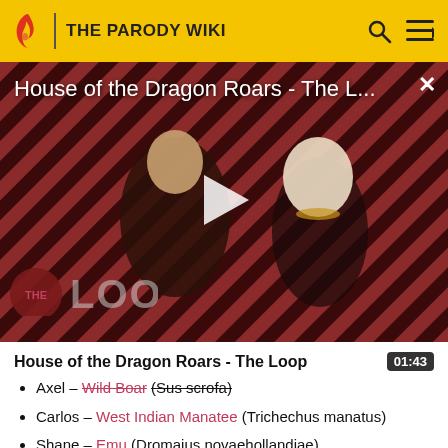THE PARODY WIKI
[Figure (screenshot): Video thumbnail for 'House of the Dragon Roars - The L...' showing two characters from House of the Dragon against a diagonal striped red/dark background, with a play button in the center and 'THE LOOP' logo in the lower left. An X close button is in the top right.]
House of the Dragon Roars - The Loop
Axel - Wild Boar (Sus scrofa)
Carlos - West Indian Manatee (Trichechus manatus)
Shane - Emu (Dromaius novaehollandiae)
Etienne - European Badger (Meles meles)